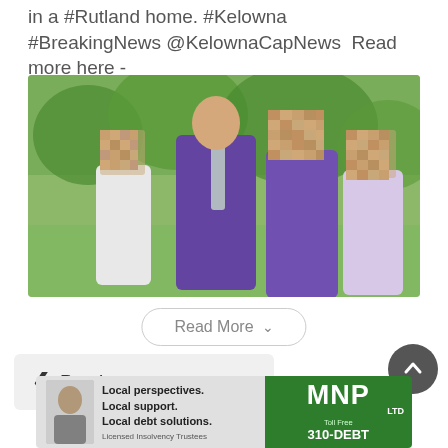in a #Rutland home. #Kelowna #BreakingNews @KelownaCapNews  Read more here - kelownacapnews.com/news/breaking-...
[Figure (photo): Family photo showing a bald man in a purple shirt holding a child in white on his left, a woman in purple beside him holding another child in white and purple dress. Faces of children and woman are pixelated/blurred. Photo taken outdoors under trees.]
Read More
Previous story
[Figure (other): MNP advertisement banner. Left side grey with text: Local perspectives. Local support. Local debt solutions. Licensed Insolvency Trustees. Right side green with MNP Ltd logo and Toll Free 310-DEBT.]